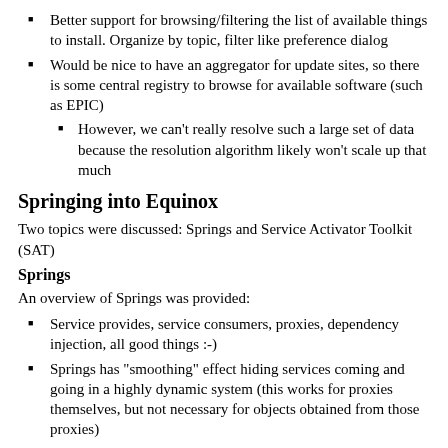Better support for browsing/filtering the list of available things to install. Organize by topic, filter like preference dialog
Would be nice to have an aggregator for update sites, so there is some central registry to browse for available software (such as EPIC)
However, we can't really resolve such a large set of data because the resolution algorithm likely won't scale up that much
Springing into Equinox
Two topics were discussed: Springs and Service Activator Toolkit (SAT)
Springs
An overview of Springs was provided:
Service provides, service consumers, proxies, dependency injection, all good things :-)
Springs has "smoothing" effect hiding services coming and going in a highly dynamic system (this works for proxies themselves, but not necessary for objects obtained from those proxies)
Supports "scopes", in particular "bundle" scope added for